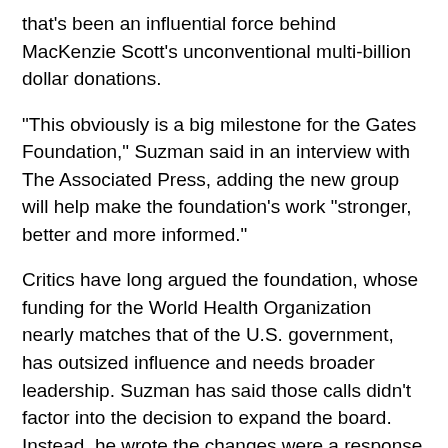that's been an influential force behind MacKenzie Scott's unconventional multi-billion dollar donations.
“This obviously is a big milestone for the Gates Foundation,” Suzman said in an interview with The Associated Press, adding the new group will help make the foundation’s work “stronger, better and more informed.”
Critics have long argued the foundation, whose funding for the World Health Organization nearly matches that of the U.S. government, has outsized influence and needs broader leadership. Suzman has said those calls didn’t factor into the decision to expand the board. Instead, he wrote the changes were a response to Warren Buffett’s resignation from the foundation board in June, and the death of Gates’ father and honorary co-chair, Bill Gates Sr., in 2020.
Suzman said the additions also represent a recognition by Gates and French Gates “especially in the wake of their